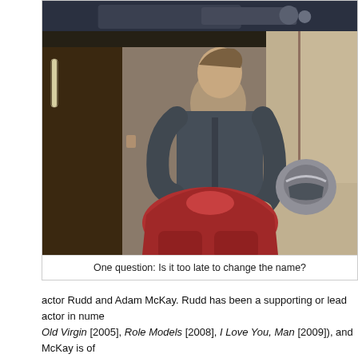[Figure (photo): Movie still showing a man in casual clothes holding an Ant-Man helmet/suit, standing over a figure in a red and silver superhero suit. Scene is indoors with warm ambient lighting.]
One question: Is it too late to change the name?
actor Rudd and Adam McKay. Rudd has been a supporting or lead actor in nume... Old Virgin [2005], Role Models [2008], I Love You, Man [2009]), and McKay is of Ferrell (e.g. Anchorman [2004], Talladega Nights [2006]). All these production inp [2004], Hot Fuzz [2007], Scott Pilgrim vs. The World [2010]) make it very obvious AM, much more so than the rest of the MCU, which was already full of lighthearte film emphasized the movie's goofy conception and obscurity with regards to the g